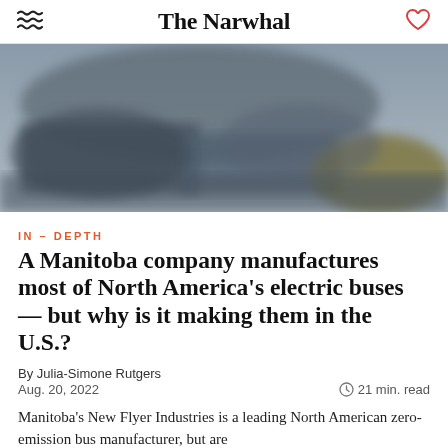The Narwhal
[Figure (photo): Blurred/out-of-focus photo of buses or vehicles, dark grey and olive tones, used as hero image for article]
IN-DEPTH
A Manitoba company manufactures most of North America's electric buses — but why is it making them in the U.S.?
By Julia-Simone Rutgers
Aug. 20, 2022  ⏱ 21 min. read
Manitoba's New Flyer Industries is a leading North American zero-emission bus manufacturer, but are